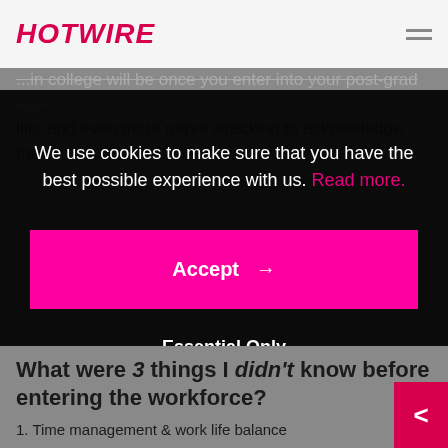HOTWIRE
...in college will be once you enter into your post-grad work life, and even more nerve wracking to acknowledge that
We use cookies to make sure that you have the best possible experience with us. Read more.
Accept →
Essential Only
What were 3 things I didn't know before entering the workforce?
1. Time management & work life balance